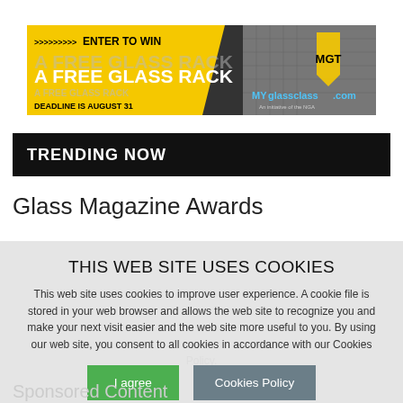[Figure (infographic): Advertisement banner for MGT/myglassclass.com: yellow background with text 'ENTER TO WIN A FREE GLASS RACK', deadline August 31, MGT logo on right side with building image]
TRENDING NOW
Glass Magazine Awards
THIS WEB SITE USES COOKIES

This web site uses cookies to improve user experience. A cookie file is stored in your web browser and allows the web site to recognize you and make your next visit easier and the web site more useful to you. By using our web site, you consent to all cookies in accordance with our Cookies Policy.
I agree | Cookies Policy
Sponsored Content